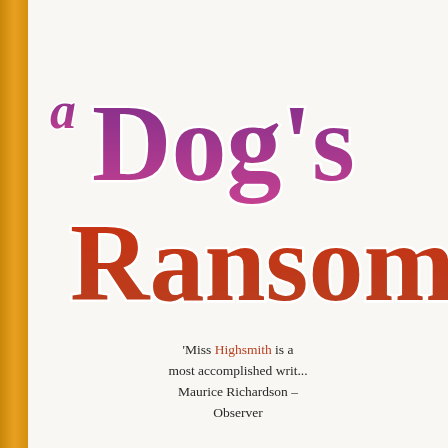[Figure (illustration): Book cover spine detail showing amber/gold vertical stripe on left edge]
a Dog's Ransom
'Miss Highsmith is a most accomplished writ... Maurice Richardson – Observer